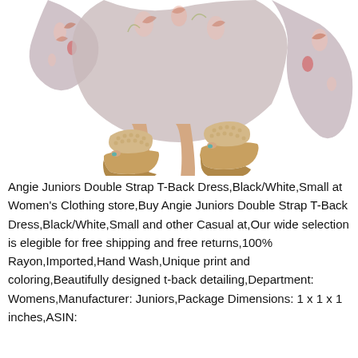[Figure (photo): Photo of a woman's lower body wearing a floral maxi dress and beige woven wedge platform sandals on a white background.]
Angie Juniors Double Strap T-Back Dress,Black/White,Small at Women's Clothing store,Buy Angie Juniors Double Strap T-Back Dress,Black/White,Small and other Casual at,Our wide selection is elegible for free shipping and free returns,100% Rayon,Imported,Hand Wash,Unique print and coloring,Beautifully designed t-back detailing,Department: Womens,Manufacturer: Juniors,Package Dimensions: 1 x 1 x 1 inches,ASIN: